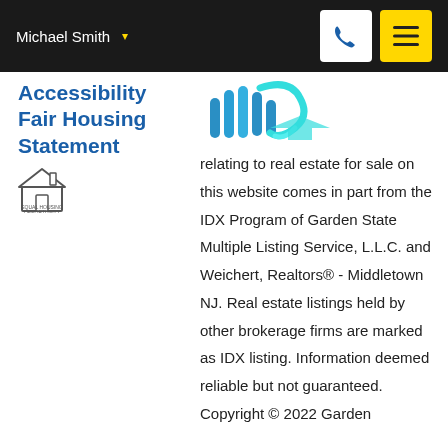Michael Smith
Accessibility Fair Housing Statement
[Figure (logo): Garden State MLS IDX logo with teal/blue wave graphic]
relating to real estate for sale on this website comes in part from the IDX Program of Garden State Multiple Listing Service, L.L.C. and Weichert, Realtors® - Middletown NJ. Real estate listings held by other brokerage firms are marked as IDX listing. Information deemed reliable but not guaranteed. Copyright © 2022 Garden